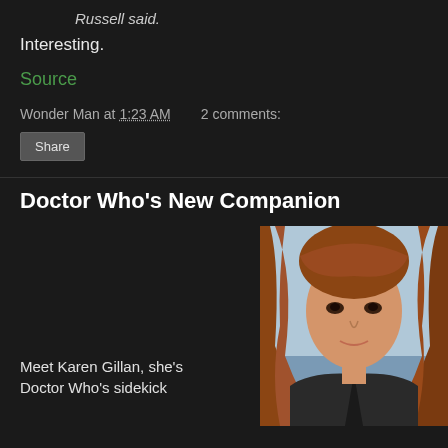Russell said.
Interesting.
Source
Wonder Man at 1:23 AM   2 comments:
Share
Doctor Who's New Companion
[Figure (photo): Photo of Karen Gillan, a young woman with long red hair, wearing a dark jacket, with a light sky background]
Meet Karen Gillan, she's Doctor Who's sidekick